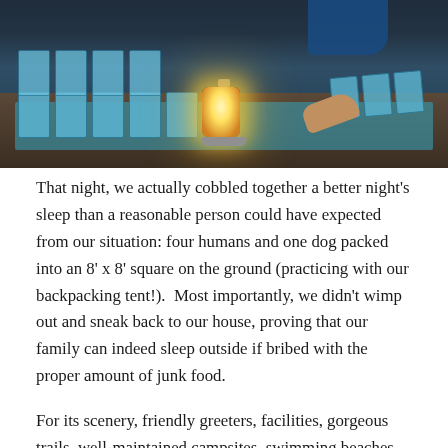[Figure (photo): A camping scene shot from above showing cards laid out on a wooden table with teal/blue backs, a glowing lantern in the center, and a person's hand holding cards. The scene is dimly lit, with the lantern providing warm orange-yellow light.]
That night, we actually cobbled together a better night's sleep than a reasonable person could have expected from our situation: four humans and one dog packed into an 8' x 8' square on the ground (practicing with our backpacking tent!).  Most importantly, we didn't wimp out and sneak back to our house, proving that our family can indeed sleep outside if bribed with the proper amount of junk food.
For its scenery, friendly greeters, facilities, gorgeous trails, well-maintained campsites, swimming beaches, scenic overlooks, and striking distance to Kaaterskill Falls and Tannersville, I'm giving North-South Lake a 9 out of 10 on the Scientific Car Camping Destination